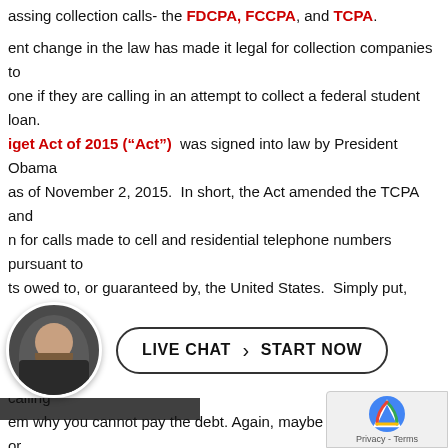assing collection calls- the FDCPA, FCCPA, and TCPA.
ent change in the law has made it legal for collection companies to one if they are calling in an attempt to collect a federal student loan. iget Act of 2015 (“Act”) was signed into law by President Obama as of November 2, 2015. In short, the Act amended the TCPA and n for calls made to cell and residential telephone numbers pursuant to ts owed to, or guaranteed by, the United States. Simply put, debt ollecting on federal student loans now can autodial your cell phone sued under the TCPA.
[Figure (photo): Live chat button with attorney avatar photo. Button reads: LIVE CHAT > START NOW]
still sue debt collectors for harassing r the FDCPA & FCCPA. All you need to do is tell them to “stop calling” em why you cannot pay the debt. Again, maybe you lost your job or d accrued an insurmountable amount of medical debt. If you c nger have the right to call and attempt to collect the subject d
[Figure (logo): reCAPTCHA privacy badge with Privacy - Terms text]